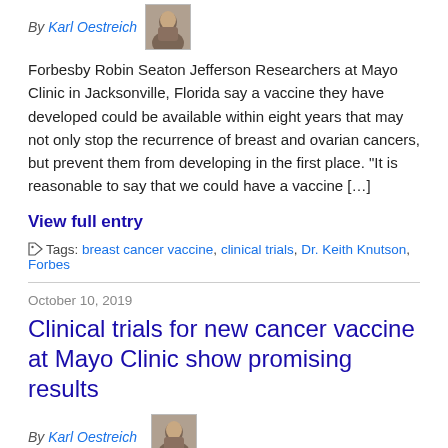By Karl Oestreich [author photo]
Forbesby Robin Seaton Jefferson Researchers at Mayo Clinic in Jacksonville, Florida say a vaccine they have developed could be available within eight years that may not only stop the recurrence of breast and ovarian cancers, but prevent them from developing in the first place. “It is reasonable to say that we could have a vaccine […]
View full entry
Tags: breast cancer vaccine, clinical trials, Dr. Keith Knutson, Forbes
October 10, 2019
Clinical trials for new cancer vaccine at Mayo Clinic show promising results
By Karl Oestreich [author photo]
Reach: First Coast News refers to three television stations in Jacksonville, Florida. WJXX, the ABC affiliate; WTLV, the NBC